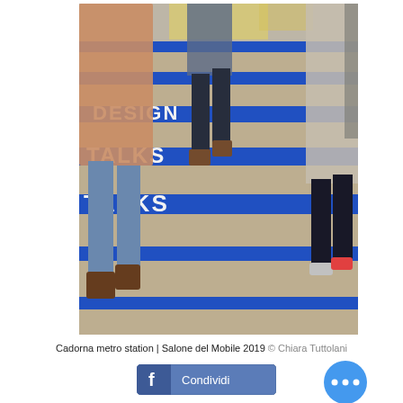[Figure (photo): Photo of people walking up stairs at Cadorna metro station during Salone del Mobile 2019. The stair risers are painted bright blue with large white text reading 'DESIGN TALKS'. People's legs and feet are visible as they ascend.]
Cadorna metro station | Salone del Mobile 2019 © Chiara Tuttolani